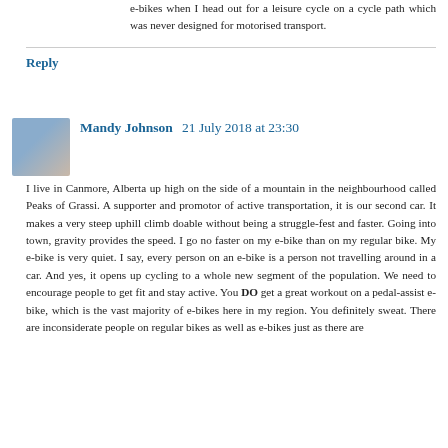e-bikes when I head out for a leisure cycle on a cycle path which was never designed for motorised transport.
Reply
Mandy Johnson  21 July 2018 at 23:30
I live in Canmore, Alberta up high on the side of a mountain in the neighbourhood called Peaks of Grassi. A supporter and promotor of active transportation, it is our second car. It makes a very steep uphill climb doable without being a struggle-fest and faster. Going into town, gravity provides the speed. I go no faster on my e-bike than on my regular bike. My e-bike is very quiet. I say, every person on an e-bike is a person not travelling around in a car. And yes, it opens up cycling to a whole new segment of the population. We need to encourage people to get fit and stay active. You DO get a great workout on a pedal-assist e-bike, which is the vast majority of e-bikes here in my region. You definitely sweat. There are inconsiderate people on regular bikes as well as e-bikes just as there are